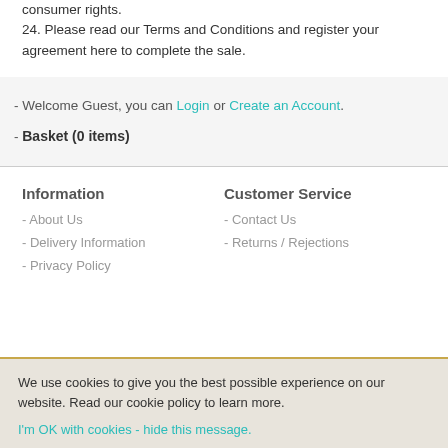consumer rights.
24. Please read our Terms and Conditions and register your agreement here to complete the sale.
- Welcome Guest, you can Login or Create an Account.
- Basket (0 items)
Information
- About Us
- Delivery Information
- Privacy Policy
Customer Service
- Contact Us
- Returns / Rejections
We use cookies to give you the best possible experience on our website. Read our cookie policy to learn more.
I'm OK with cookies - hide this message.